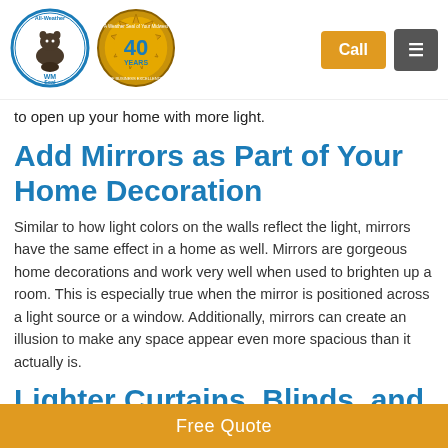[Figure (logo): All-Weather Seal circular logo with a beaver/animal mascot and WM text]
[Figure (logo): 40 Years of Business Excellence gold seal badge]
to open up your home with more light.
Add Mirrors as Part of Your Home Decoration
Similar to how light colors on the walls reflect the light, mirrors have the same effect in a home as well. Mirrors are gorgeous home decorations and work very well when used to brighten up a room. This is especially true when the mirror is positioned across a light source or a window. Additionally, mirrors can create an illusion to make any space appear even more spacious than it actually is.
Lighter Curtains, Blinds, and Window Shades
Free Quote